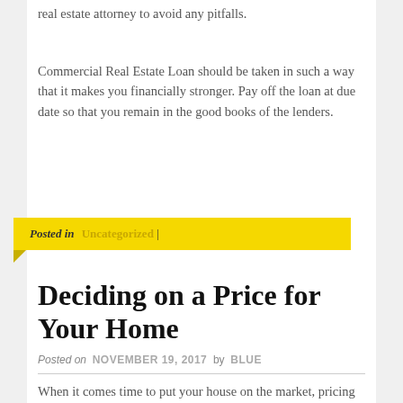real estate attorney to avoid any pitfalls.
Commercial Real Estate Loan should be taken in such a way that it makes you financially stronger. Pay off the loan at due date so that you remain in the good books of the lenders.
Posted in Uncategorized |
Deciding on a Price for Your Home
Posted on NOVEMBER 19, 2017 by BLUE
When it comes time to put your house on the market, pricing can make or break your sale. If you overprice your home, you risk watching it languish on the market, but under-pricing it means minimizing your investment.